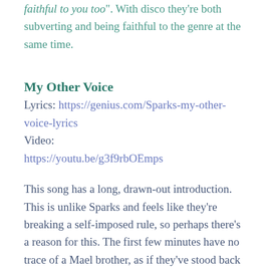faithful to you too". With disco they're both subverting and being faithful to the genre at the same time.
My Other Voice
Lyrics: https://genius.com/Sparks-my-other-voice-lyrics
Video: https://youtu.be/g3f9rbOEmps
This song has a long, drawn-out introduction. This is unlike Sparks and feels like they're breaking a self-imposed rule, so perhaps there's a reason for this. The first few minutes have no trace of a Mael brother, as if they've stood back to show you the